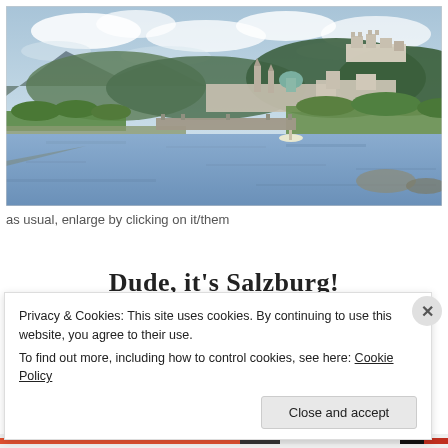[Figure (photo): Scenic photograph of Salzburg, Austria. Shows a river (Salzach) in the foreground with a bridge, historic cityscape including churches and a cathedral with a green dome on the right, Hohensalzburg fortress on the hilltop to the right, mountains and green hills in the background, and a partly cloudy sky.]
as usual, enlarge by clicking on it/them
Dude, it's Salzburg!
Privacy & Cookies: This site uses cookies. By continuing to use this website, you agree to their use.
To find out more, including how to control cookies, see here: Cookie Policy